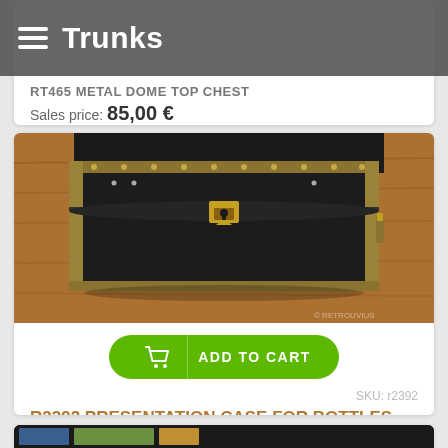Trunks
RT465 METAL DOME TOP CHEST
Sales price: 85,00 €
[Figure (photo): A black metal dome-top trunk/chest with brass hardware and decorative rivets, latch lock in center, placed on a wooden surface.]
ADD TO CART
SKU: r2392
R2392 PRESENTATION CASE FOR BOTTLES
Sales price: 120,00 €
[Figure (photo): Partial view of next product image at bottom of page.]